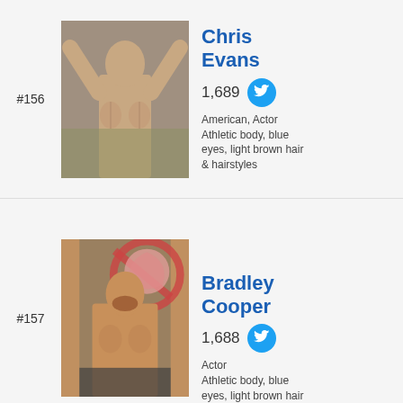#156
[Figure (photo): Chris Evans shirtless with arms raised, celebrating]
Chris Evans
1,689
American, Actor
Athletic body, blue eyes, light brown hair & hairstyles
#157
[Figure (photo): Bradley Cooper shirtless laughing at an outdoor event]
Bradley Cooper
1,688
Actor
Athletic body, blue eyes, light brown hair & hairstyles
[Figure (photo): Partial photo at bottom of page, person in action]